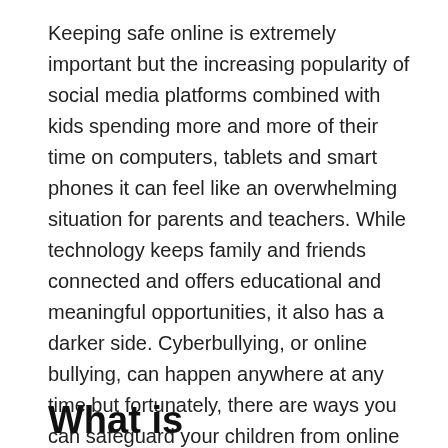Keeping safe online is extremely important but the increasing popularity of social media platforms combined with kids spending more and more of their time on computers, tablets and smart phones it can feel like an overwhelming situation for parents and teachers. While technology keeps family and friends connected and offers educational and meaningful opportunities, it also has a darker side. Cyberbullying, or online bullying, can happen anywhere at any time but fortunately, there are ways you can safeguard your children from online threats. This guide will help you to understand what cyberbullying is and what you can do about it.
What is